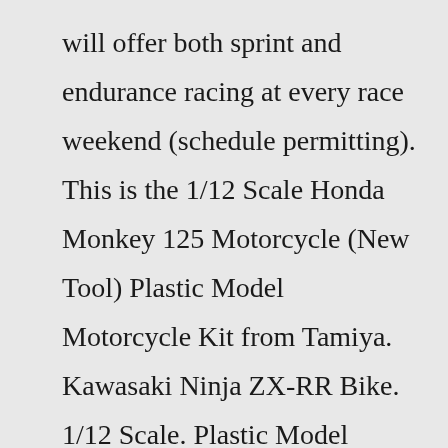will offer both sprint and endurance racing at every race weekend (schedule permitting). This is the 1/12 Scale Honda Monkey 125 Motorcycle (New Tool) Plastic Model Motorcycle Kit from Tamiya. Kawasaki Ninja ZX-RR Bike. 1/12 Scale. Plastic Model Motorcycle Kit. $61.00 $46.40. SALE. 24% Off. Tamiya # tam14109. Add To Cart: Wish List: This is a 1/12 Plastic Kawasaki Ninja ZX-RR Racing